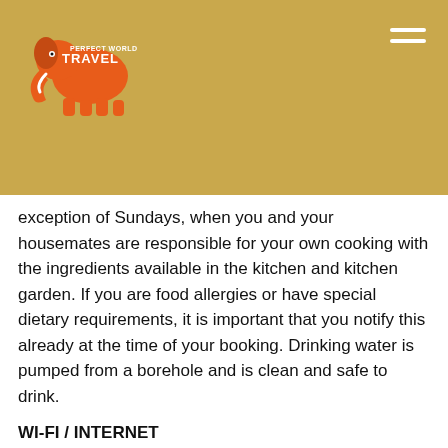Perfect World Travel logo and navigation header
exception of Sundays, when you and your housemates are responsible for your own cooking with the ingredients available in the kitchen and kitchen garden. If you are food allergies or have special dietary requirements, it is important that you notify this already at the time of your booking. Drinking water is pumped from a borehole and is clean and safe to drink.
WI-FI / INTERNET
Wi-fi is not available on the project. TIP! You can buy a local SIM card at the airport when you arrive to be able to be online via 3G, when signal is available.
TRANSPORT
The project is located on a remote nature reserve, which makes it difficult to travel in the area. Transports to and from all